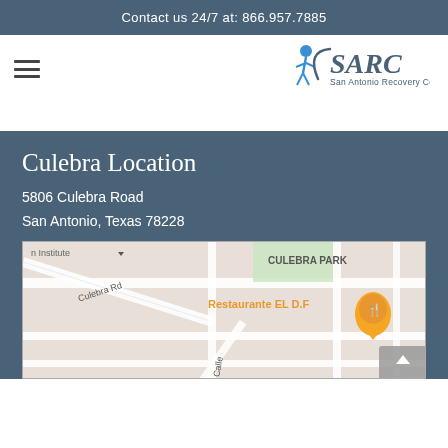Contact us 24/7 at: 866.957.7885
[Figure (logo): SARC San Antonio Recovery Center logo with figure icon]
Culebra Location
5806 Culebra Road
San Antonio, Texas 78228
[Figure (map): Google map showing Culebra Road area with Culebra Park, Restaurante EL D.F marker, and street grid]